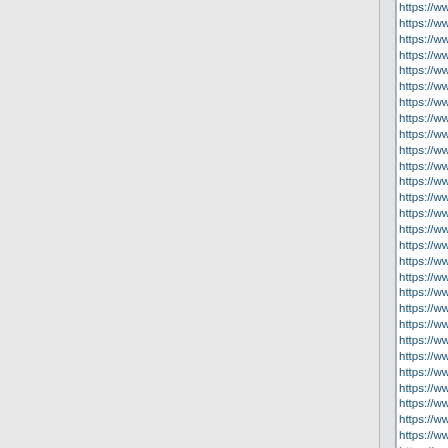https://www.newshoes2019.com/
https://www.airjordan-retro11.us.com/
https://www.yeezyscheap.us.com/
https://www.air-jordansretro.us.com/
https://www.lebron17.us.org/ Le
https://www.nikeair-max270.us/
https://www.newshoes2019.us/
https://www.nbajerseysnew.us.com/
https://www.nikeshoesonlines.us.com/
https://www.shoesasics.us.com/
https://www.louboutinshoess.us/
https://www.bestbasketballshoes...
https://www.nikeairmax720.us.com/
https://www.mlbshops.us.org/ M
https://www.nflgear.us.org/ NFL
https://www.airjordanshoesretro...
https://www.nike-runningshoes.us/
https://www.nike-presto.us.com/
https://www.filasneakers.us/ Fil
https://www.nikeshoesfactorys.us/
https://www.airforce1shoes.us.com/
https://www.outletstoreonlinesh...
https://www.adidas-nmds.us.org/
https://www.ferragamobelts.us.com/
https://www.filashoessale.us/ Fi
https://www.adidass.us.com/ Ad
https://www.kyrieirvingbasketba...
https://www.fjallravenkankenba...
https://www.nikeshoesclearanc...
https://www.christianlouboutins...
https://www.menwomenshoes.us/
https://www.balenciagasneaker...
https://www.charmsbracelet.org/
https://www.nikefreemrun.us.com/
https://www.newnikeshoes.us.com/
https://www.charmspandoras.us/
https://www.nike-outletstores.us...